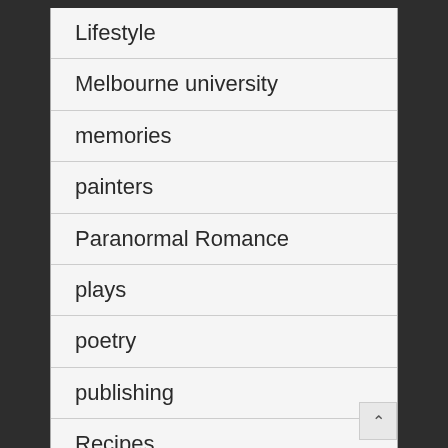Lifestyle
Melbourne university
memories
painters
Paranormal Romance
plays
poetry
publishing
Recipes